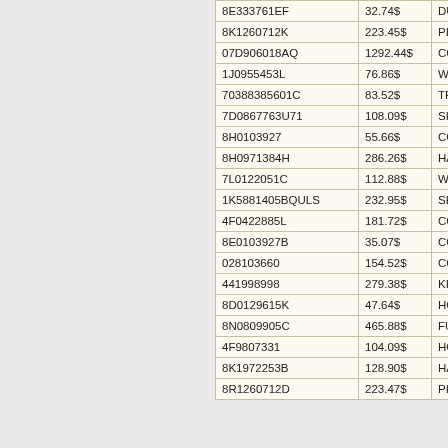| Part Number | Price | Category |
| --- | --- | --- |
| 8E333761EF | 32.74$ | DUST |
| 8K1260712K | 223.45$ | PIPE |
| 07D906018AQ | 1292.44$ | CONT |
| 1J0955453L | 76.86$ | WATE |
| 70388385601C | 83.52$ | TRIM |
| 7D0867763U71 | 108.09$ | SHEL |
| 8H0103927 | 55.66$ | COVE |
| 8H0971384H | 286.26$ | HARN |
| 7L0122051C | 112.88$ | WATE |
| 1K5881405BQULS | 232.95$ | SEAT |
| 4F0422885L | 181.72$ | COOL |
| 8E0103927B | 35.07$ | COVE |
| 028103660 | 154.52$ | COVE |
| 441998998 | 279.38$ | KIT |
| 8D0129615K | 47.64$ | HOSE |
| 8N0809905C | 465.88$ | FUEL |
| 4F9807331 | 104.09$ | HOLD |
| 8K1972253B | 128.90$ | HARN |
| 8R1260712D | 223.47$ | PIPE |